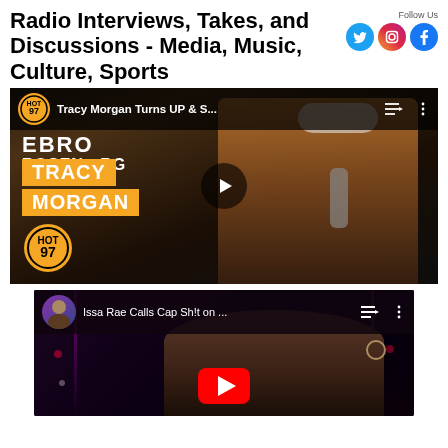Radio Interviews, Takes, and Discussions - Media, Music, Culture, Sports
[Figure (screenshot): YouTube video thumbnail for Tracy Morgan on HOT 97 - 'Tracy Morgan Turns UP & S...' with HOT 97 logo, play button, and text overlays showing EBRO, ROSENRG, TRACY MORGAN, HOT 97 logo]
[Figure (screenshot): YouTube video thumbnail for 'Issa Rae Calls Cap Sh!t on...' showing Issa Rae smiling, with YouTube play button at bottom]